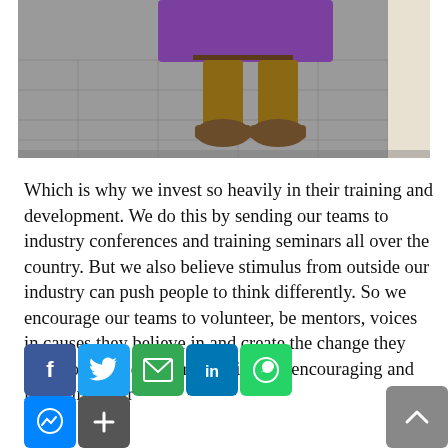[Figure (photo): A person standing outdoors holding a large purple rectangular box/case, wearing brown pants and brown boots. A tiled outdoor plaza is visible in the background.]
Which is why we invest so heavily in their training and development. We do this by sending our teams to industry conferences and training seminars all over the country. But we also believe stimulus from outside our industry can push people to think differently. So we encourage our teams to volunteer, be mentors, voices in causes they believe in and create the change they want to see in our communities. By encouraging and indulging their